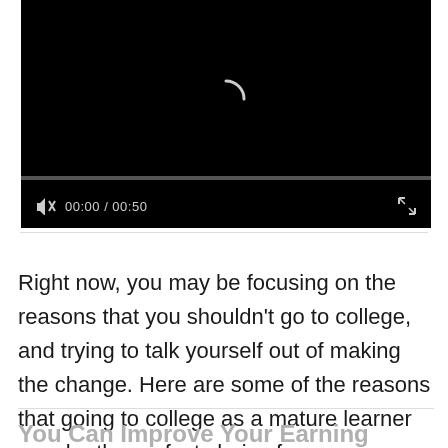[Figure (screenshot): Video player showing a loading spinner on a black background, with a progress bar and controls showing muted audio icon, time display 00:00 / 00:50, and a fullscreen button]
Right now, you may be focusing on the reasons that you shouldn't go to college, and trying to talk yourself out of making the change. Here are some of the reasons that going to college as a mature learner may be the perfect choice for you:
You Can Improve Your Earning